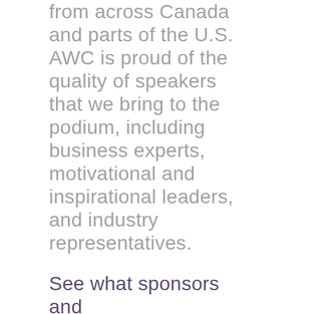from across Canada and parts of the U.S. AWC is proud of the quality of speakers that we bring to the podium, including business experts, motivational and inspirational leaders, and industry representatives.
See what sponsors and